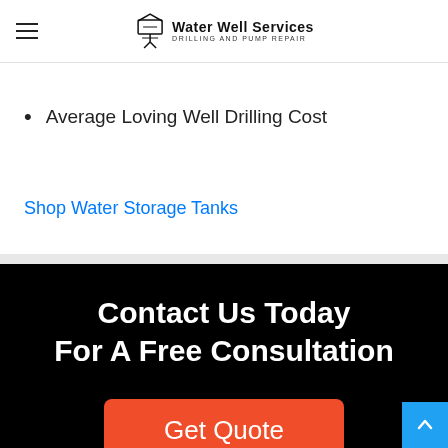Water Well Services – Drilling and Pump Repair
How deep to drill a well in Loving, NM?
Average Loving Well Drilling Cost
Shop Water Storage Tanks
[Figure (infographic): Black background CTA section with white text 'Contact Us Today For A Free Consultation' and a red 'Get Quote' button]